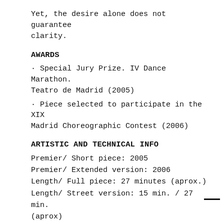Yet, the desire alone does not guarantee clarity.
AWARDS
· Special Jury Prize. IV Dance Marathon. Teatro de Madrid (2005)
· Piece selected to participate in the XIX Madrid Choreographic Contest (2006)
ARTISTIC AND TECHNICAL INFO
Premier/ Short piece: 2005
Premier/ Extended version: 2006
Length/ Full piece: 27 minutes (aprox.)
Length/ Street version: 15 min. / 27 min. (aprox)
Genre: Contemporary dance
No. Performers: 2